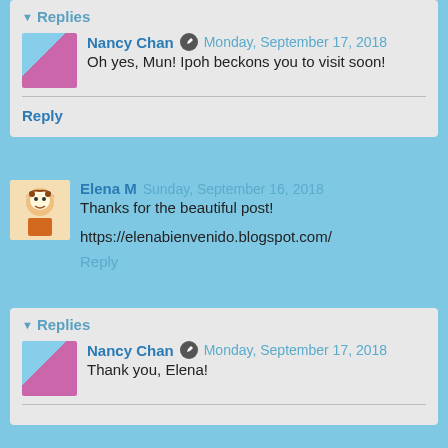Replies
Nancy Chan  Monday, September 17, 2018
Oh yes, Mun! Ipoh beckons you to visit soon!
Reply
Elena M  Sunday, September 16, 2018
Thanks for the beautiful post!
https://elenabienvenido.blogspot.com/
Reply
Replies
Nancy Chan  Monday, September 17, 2018
Thank you, Elena!